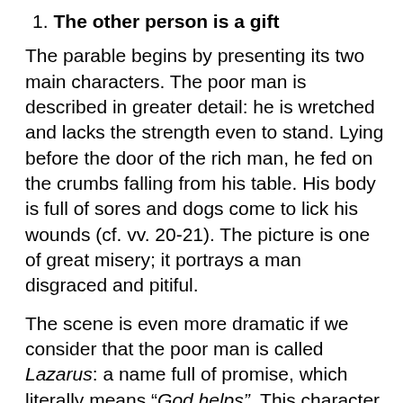1. The other person is a gift
The parable begins by presenting its two main characters. The poor man is described in greater detail: he is wretched and lacks the strength even to stand. Lying before the door of the rich man, he fed on the crumbs falling from his table. His body is full of sores and dogs come to lick his wounds (cf. vv. 20-21). The picture is one of great misery; it portrays a man disgraced and pitiful.
The scene is even more dramatic if we consider that the poor man is called Lazarus: a name full of promise, which literally means “God helps”. This character is not anonymous. His features are clearly delineated and he appears as an individual with his own story. While practically invisible to the rich man, we see and know him as someone familiar. He becomes a face, and as such, a gift, a priceless treasure, a human being